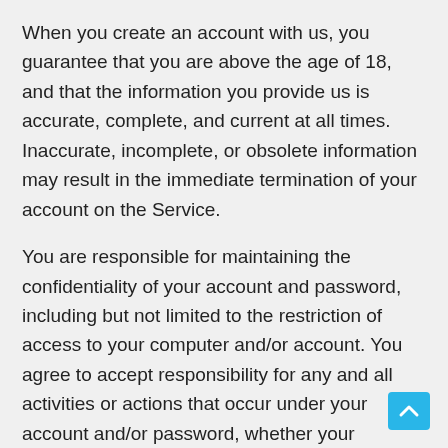When you create an account with us, you guarantee that you are above the age of 18, and that the information you provide us is accurate, complete, and current at all times. Inaccurate, incomplete, or obsolete information may result in the immediate termination of your account on the Service.
You are responsible for maintaining the confidentiality of your account and password, including but not limited to the restriction of access to your computer and/or account. You agree to accept responsibility for any and all activities or actions that occur under your account and/or password, whether your password is with our Service or a third-party service. You must notify us immediately upon becoming aware of any breach of security or unauthorized use of your account.